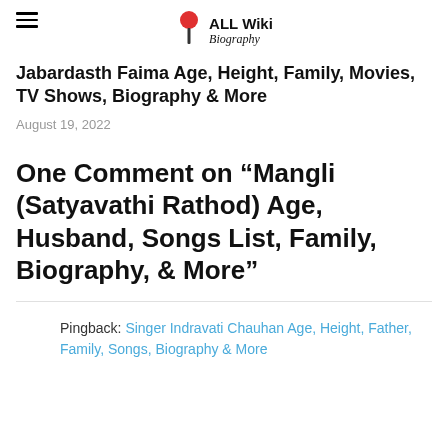ALL Wiki Biography
Jabardasth Faima Age, Height, Family, Movies, TV Shows, Biography & More
August 19, 2022
One Comment on “Mangli (Satyavathi Rathod) Age, Husband, Songs List, Family, Biography, & More”
Pingback: Singer Indravati Chauhan Age, Height, Father, Family, Songs, Biography & More